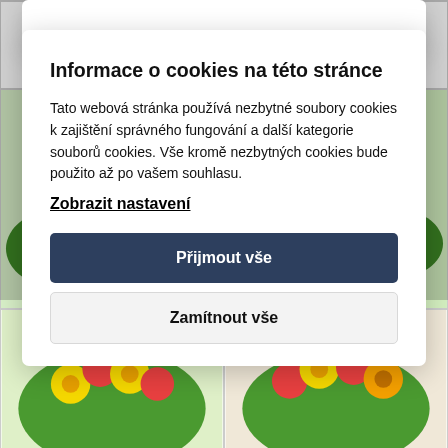from 44.30 €
from 52.00 €
[Figure (photo): Flower bouquet with red roses, pink lily, and yellow flowers on left]
[Figure (photo): Flower arrangement with yellow, orange and red flowers on right]
[Figure (photo): Flower arrangement bottom left]
[Figure (photo): Flower arrangement bottom right]
Informace o cookies na této stránce
Tato webová stránka používá nezbytné soubory cookies k zajištění správného fungování a další kategorie souborů cookies. Vše kromě nezbytných cookies bude použito až po vašem souhlasu.
Zobrazit nastavení
Přijmout vše
Zamítnout vše